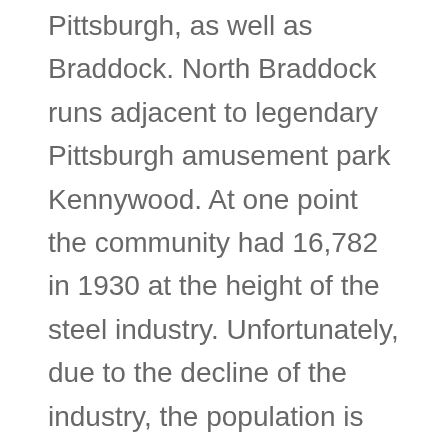Pittsburgh, as well as Braddock. North Braddock runs adjacent to legendary Pittsburgh amusement park Kennywood. At one point the community had 16,782 in 1930 at the height of the steel industry. Unfortunately, due to the decline of the industry, the population is now at just under 5,000.